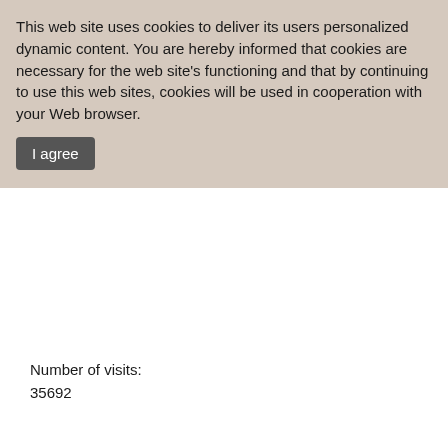This web site uses cookies to deliver its users personalized dynamic content. You are hereby informed that cookies are necessary for the web site's functioning and that by continuing to use this web sites, cookies will be used in cooperation with your Web browser.
I agree
Number of visits:
35692